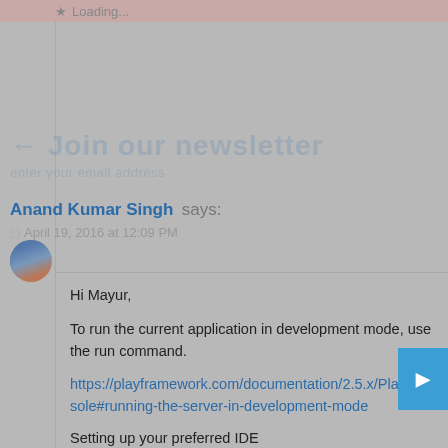Loading...
Anand Kumar Singh says:
April 19, 2016 at 12:09 PM
Hi Mayur,

To run the current application in development mode, use the run command.

https://playframework.com/documentation/2.5.x/PlayConsole#running-the-server-in-development-mode

Setting up your preferred IDE